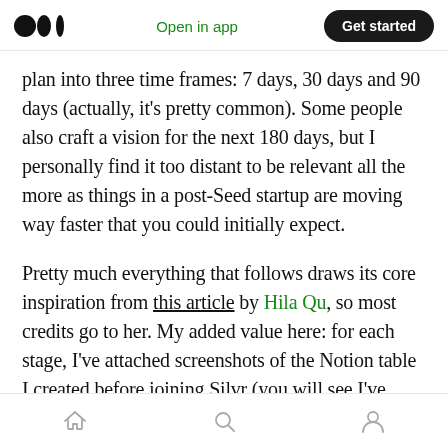Medium app header — logo, Open in app, Get started
plan into three time frames: 7 days, 30 days and 90 days (actually, it's pretty common). Some people also craft a vision for the next 180 days, but I personally find it too distant to be relevant all the more as things in a post-Seed startup are moving way faster that you could initially expect.
Pretty much everything that follows draws its core inspiration from this article by Hila Qu, so most credits go to her. My added value here: for each stage, I've attached screenshots of the Notion table I created before joining Silvr (you will see I've refined her vision according to my
Home | Search | Profile — bottom navigation bar